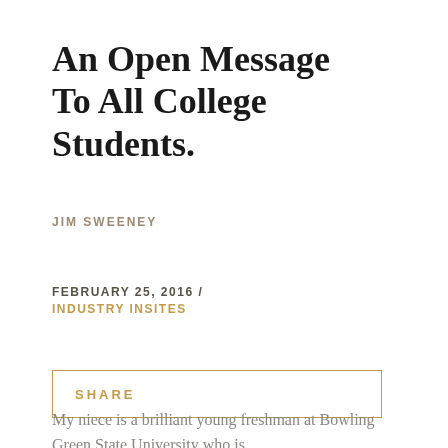An Open Message To All College Students.
JIM SWEENEY
FEBRUARY 25, 2016 / INDUSTRY INSITES
SHARE
My niece is a brilliant young freshman at Bowling Green State University who is